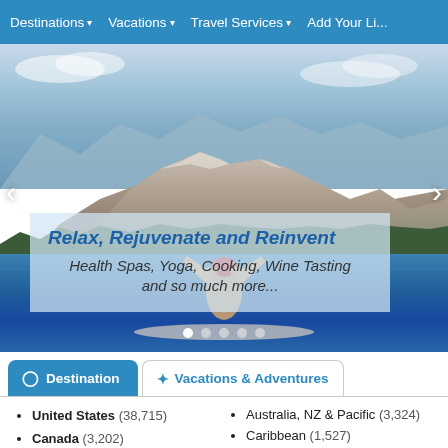Destinations ▾  Vacations ▾  Travel Services ▾  Add Your Listing
[Figure (photo): Hero image of a person in a red hat doing yoga or stretching on a paddleboard on a blue lake with dramatic mountain scenery in the background. Overlaid text box reads: Relax, Rejuvenate and Reinvent / Health Spas, Yoga, Cooking, Wine Tasting and so much more...]
Destination  |  Vacations & Adventures
United States (38,715)
Canada (3,202)
Mexico (1,853)
Australia, NZ & Pacific (3,324)
Caribbean (1,527)
Central America (1,038)